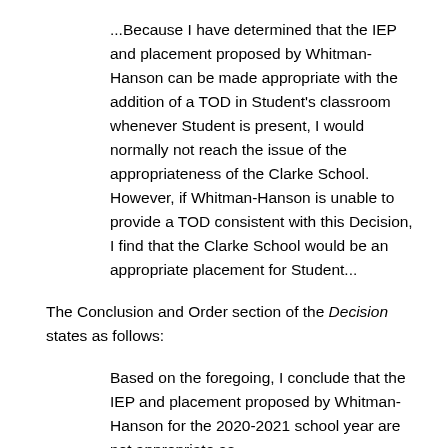...Because I have determined that the IEP and placement proposed by Whitman-Hanson can be made appropriate with the addition of a TOD in Student's classroom whenever Student is present, I would normally not reach the issue of the appropriateness of the Clarke School. However, if Whitman-Hanson is unable to provide a TOD consistent with this Decision, I find that the Clarke School would be an appropriate placement for Student...
The Conclusion and Order section of the Decision states as follows:
Based on the foregoing, I conclude that the IEP and placement proposed by Whitman-Hanson for the 2020-2021 school year are not appropriate as